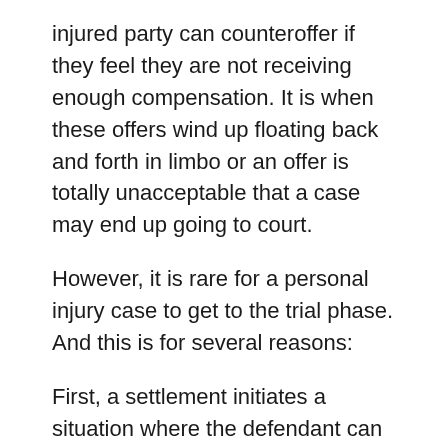injured party can counteroffer if they feel they are not receiving enough compensation. It is when these offers wind up floating back and forth in limbo or an offer is totally unacceptable that a case may end up going to court.
However, it is rare for a personal injury case to get to the trial phase. And this is for several reasons:
First, a settlement initiates a situation where the defendant can control risks and avoid unnecessary legal costs. If the other party is 100% aware that they are at fault